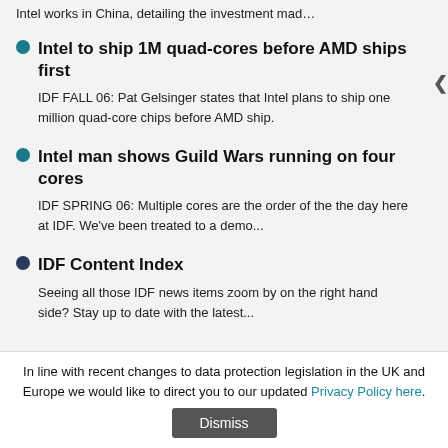Intel works in China, detailing the investment mad…
Intel to ship 1M quad-cores before AMD ships first
IDF FALL 06: Pat Gelsinger states that Intel plans to ship one million quad-core chips before AMD ship.
Intel man shows Guild Wars running on four cores
IDF SPRING 06: Multiple cores are the order of the the day here at IDF. We've been treated to a demo...
IDF Content Index
Seeing all those IDF news items zoom by on the right hand side? Stay up to date with the latest...
In line with recent changes to data protection legislation in the UK and Europe we would like to direct you to our updated Privacy Policy here. Dismiss